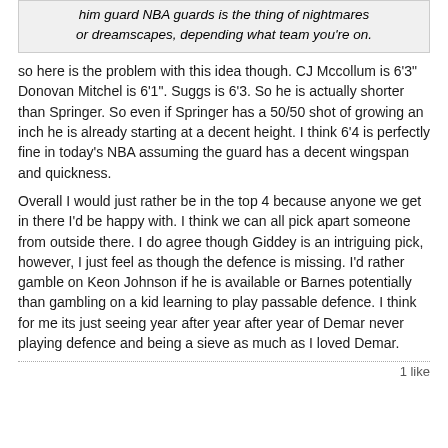him guard NBA guards is the thing of nightmares or dreamscapes, depending what team you're on.
so here is the problem with this idea though. CJ Mccollum is 6'3" Donovan Mitchel is 6'1". Suggs is 6'3. So he is actually shorter than Springer. So even if Springer has a 50/50 shot of growing an inch he is already starting at a decent height. I think 6'4 is perfectly fine in today's NBA assuming the guard has a decent wingspan and quickness.
Overall I would just rather be in the top 4 because anyone we get in there I'd be happy with. I think we can all pick apart someone from outside there. I do agree though Giddey is an intriguing pick, however, I just feel as though the defence is missing. I'd rather gamble on Keon Johnson if he is available or Barnes potentially than gambling on a kid learning to play passable defence. I think for me its just seeing year after year after year of Demar never playing defence and being a sieve as much as I loved Demar.
1 like